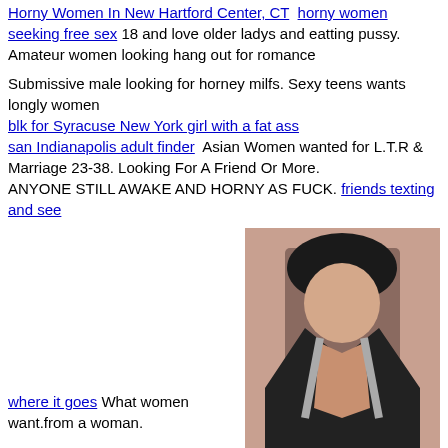Horny Women In New Hartford Center, CT  horny women seeking free sex 18 and love older ladys and eatting pussy. Amateur women looking hang out for romance
Submissive male looking for horney milfs. Sexy teens wants longly women
blk for Syracuse New York girl with a fat ass
san Indianapolis adult finder  Asian Women wanted for L.T.R & Marriage 23-38. Looking For A Friend Or More.
ANYONE STILL AWAKE AND HORNY AS FUCK.  friends texting and see
where it goes  What women want.from a woman.
[Figure (photo): Two photos of women in revealing clothing stacked vertically on the right side of the page]
Looking to please I'm looking to worship a pussy today love to give oral to completion size age and race does not matter I'm lbs ddf x ' x x "cut if that matters I can host all day no reception necessary but won't argue also up to try anything let me know ladies respond with stats and would be nice hmu looking all day at Costco I saw you yesterday working a stand. You were